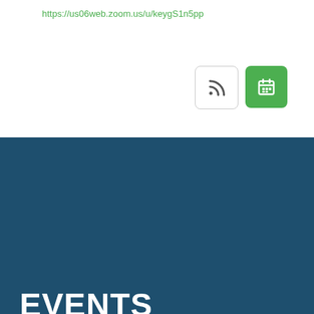https://us06web.zoom.us/u/keygS1n5pp
[Figure (other): RSS feed button (white with RSS icon) and calendar button (green with calendar icon)]
EVENTS CALENDAR
September 8th
9:30 am
Transportation Advisory Committee Meeting
[Figure (other): 2x2 icon grid with accessibility and communication icons on dark background]